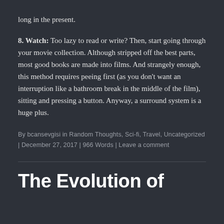long in the present.
8. Watch: Too lazy to read or write? Then, start going through your movie collection. Although stripped off the best parts, most good books are made into films. And strangely enough, this method requires peeing first (as you don't want an interruption like a bathroom break in the middle of the film), sitting and pressing a button. Anyway, a surround system is a huge plus.
By bcansevgisi in Random Thoughts, Sci-fi, Travel, Uncategorized | December 27, 2017 | 966 Words | Leave a comment
The Evolution of